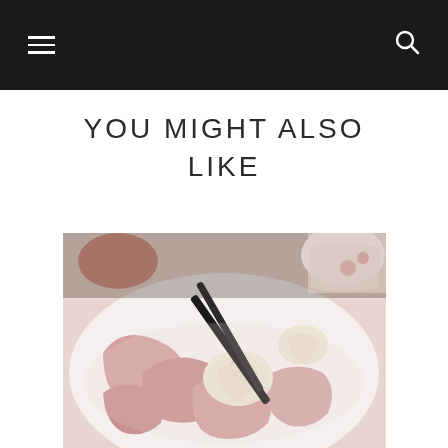Navigation header with menu and search icons
YOU MIGHT ALSO LIKE
[Figure (photo): A white bowl filled with cooked pork trotters and garlic cloves, with chopsticks, other bowls of food visible in the background.]